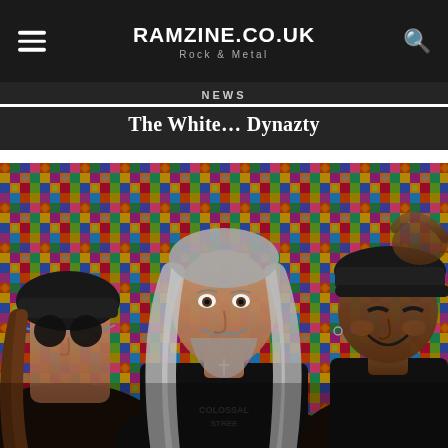RAMZINE.CO.UK — Rock & Metal
NEWS
The White… Dynazty
[Figure (photo): Three band members lying against a colorful patchwork tapestry background. Left person wears dark beanie and sunglasses with long brown hair. Center person has long silver/grey hair and beard, wearing a black 'Colossal Street' t-shirt with a cross necklace. Right person wears a dark cap and smiles slightly.]